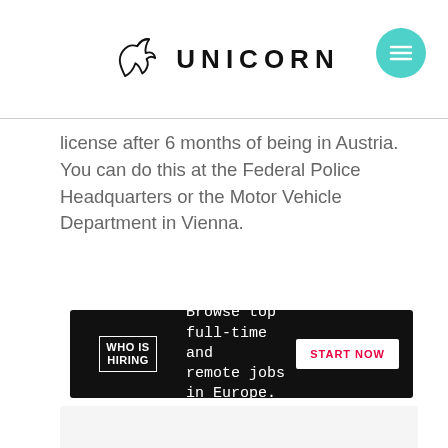UNICORN
license after 6 months of being in Austria. You can do this at the Federal Police Headquarters or the Motor Vehicle Department in Vienna.
[Figure (infographic): WHO IS HIRING advertisement banner. Dark background with text: Browse top full-time and remote jobs in Europe. START NOW button on right.]